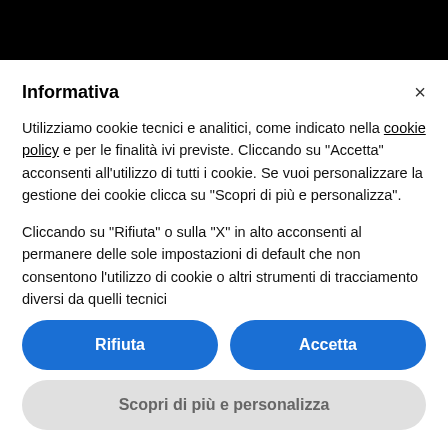Informativa
Utilizziamo cookie tecnici e analitici, come indicato nella cookie policy e per le finalità ivi previste. Cliccando su "Accetta" acconsenti all'utilizzo di tutti i cookie. Se vuoi personalizzare la gestione dei cookie clicca su "Scopri di più e personalizza".
Cliccando su "Rifiuta" o sulla "X" in alto acconsenti al permanere delle sole impostazioni di default che non consentono l'utilizzo di cookie o altri strumenti di tracciamento diversi da quelli tecnici
Rifiuta
Accetta
Scopri di più e personalizza